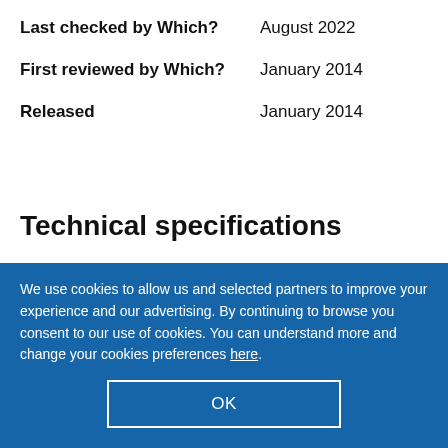Last checked by Which?    August 2022
First reviewed by Which?    January 2014
Released    January 2014
Technical specifications
General
We use cookies to allow us and selected partners to improve your experience and our advertising. By continuing to browse you consent to our use of cookies. You can understand more and change your cookies preferences here.